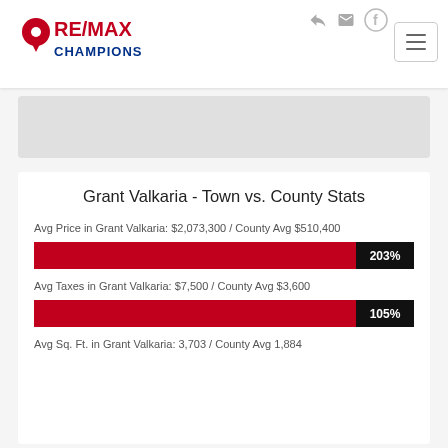[Figure (logo): RE/MAX Champions logo with hot air balloon icon]
Grant Valkaria - Town vs. County Stats
Avg Price in Grant Valkaria: $2,073,300 / County Avg $510,400
[Figure (bar-chart): Avg Price comparison]
Avg Taxes in Grant Valkaria: $7,500 / County Avg $3,600
[Figure (bar-chart): Avg Taxes comparison]
Avg Sq. Ft. in Grant Valkaria: 3,703 / County Avg 1,884